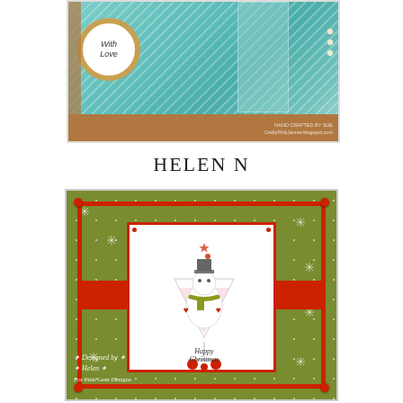[Figure (photo): Partial view of a handmade greeting card with teal/turquoise striped background, circular 'With Love' badge with gold border, and watermark text 'HAND CRAFTED BY SUE' and 'CraftyPinkJanner.blogspot.com']
HELEN N
[Figure (photo): Handmade Christmas card with olive green star/snowflake patterned background, red border, red corner brads, and center white card panel featuring a snowman in a cocktail glass illustration with 'Happy Christmas' text. Watermark reads 'Designed by Helen' and 'For Pink Gem Designs']